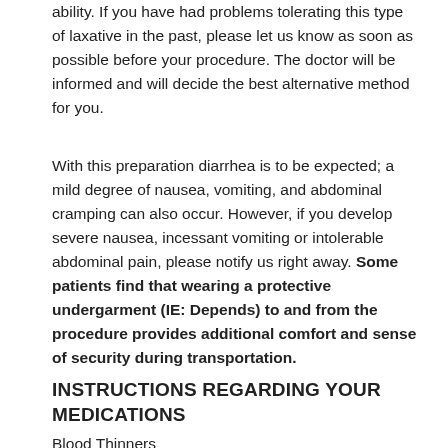ability. If you have had problems tolerating this type of laxative in the past, please let us know as soon as possible before your procedure. The doctor will be informed and will decide the best alternative method for you.
With this preparation diarrhea is to be expected; a mild degree of nausea, vomiting, and abdominal cramping can also occur. However, if you develop severe nausea, incessant vomiting or intolerable abdominal pain, please notify us right away. Some patients find that wearing a protective undergarment (IE: Depends) to and from the procedure provides additional comfort and sense of security during transportation.
INSTRUCTIONS REGARDING YOUR MEDICATIONS
Blood Thinners